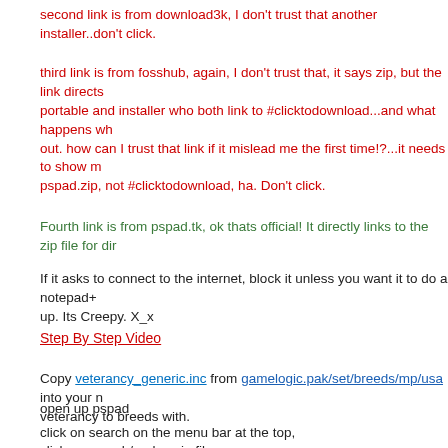second link is from download3k, I don't trust that another installer..don't click.
third link is from fosshub, again, I don't trust that, it says zip, but the link directs portable and installer who both link to #clicktodownload...and what happens wh out. how can I trust that link if it mislead me the first time!?...it needs to show m pspad.zip, not #clicktodownload, ha. Don't click.
Fourth link is from pspad.tk, ok thats official! It directly links to the zip file for dir
If it asks to connect to the internet, block it unless you want it to do a notepad+ up. Its Creepy. X_x
Step By Step Video
Copy veterancy_generic.inc from gamelogic.pak/set/breeds/mp/usa into your n veterancy to breeds with.
open up pspad
click on search on the menu bar at the top,
click on search/replace in files,
[Figure (screenshot): Screenshot of PSPad text editor showing the menu bar with File, Projects, Edit, Search (selected/highlighted), View, Format, Tools, HTML, Settings menus, a toolbar with icons below, and a dropdown from Search showing Find... and Replace... options]